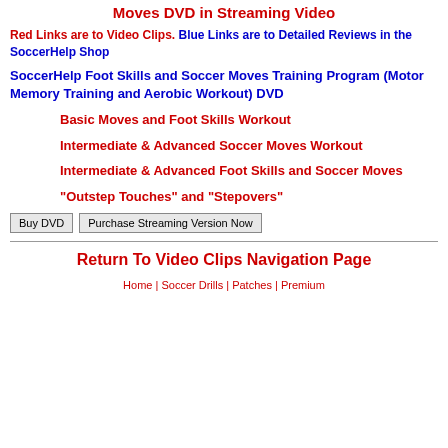Moves DVD in Streaming Video
Red Links are to Video Clips. Blue Links are to Detailed Reviews in the SoccerHelp Shop
SoccerHelp Foot Skills and Soccer Moves Training Program (Motor Memory Training and Aerobic Workout) DVD
Basic Moves and Foot Skills Workout
Intermediate & Advanced Soccer Moves Workout
Intermediate & Advanced Foot Skills and Soccer Moves
"Outstep Touches" and "Stepovers"
Buy DVD | Purchase Streaming Version Now
Return To Video Clips Navigation Page
Home | Soccer Drills | Patches | Premium